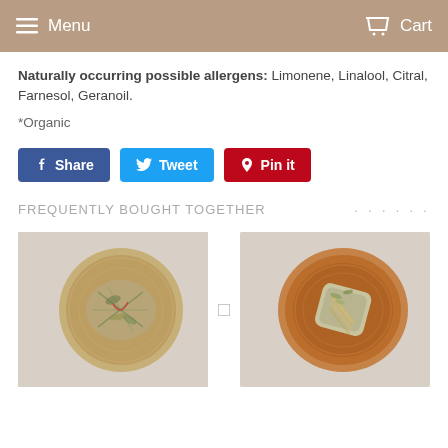Menu   Cart
Naturally occurring possible allergens: Limonene, Linalool, Citral, Farnesol, Geranoil.
*Organic
Share  Tweet  Pin it
FREQUENTLY BOUGHT TOGETHER
[Figure (photo): Top-down view of a decorative bowl with dried herbs/botanicals on a linen background]
[Figure (photo): Top-down view of a bundled sage smudge stick on a wooden plate on a linen background]